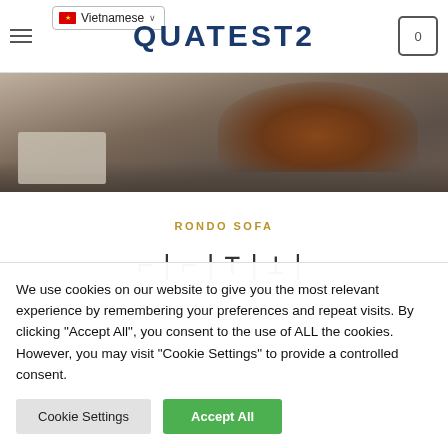QUATEST2
[Figure (photo): Hero image showing a modern living room interior with a brown/red sofa, a textured grey rug on a dark floor, and metal furniture legs visible in the background.]
RONDO SOFA
[Figure (other): Decorative price/filter bar with stylized bracket and divider symbols: ⊓ | ⌐ | ⊤ | ⊥ |]
We use cookies on our website to give you the most relevant experience by remembering your preferences and repeat visits. By clicking "Accept All", you consent to the use of ALL the cookies. However, you may visit "Cookie Settings" to provide a controlled consent.
Cookie Settings   Accept All